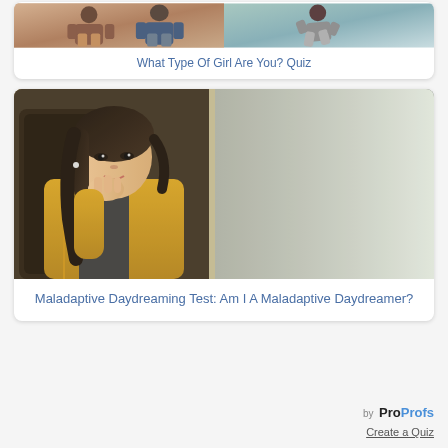[Figure (photo): Two women shown in a strip photo at the top of the first card]
What Type Of Girl Are You? Quiz
[Figure (photo): Young Asian woman sitting on a train, gazing out the window, wearing a yellow cardigan]
Maladaptive Daydreaming Test: Am I A Maladaptive Daydreamer?
by ProProfs Create a Quiz